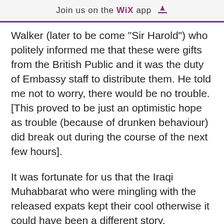Join us on the WiX app
Walker (later to be come "Sir Harold") who politely informed me that these were gifts from the British Public and it was the duty of Embassy staff to distribute them. He told me not to worry, there would be no trouble.[This proved to be just an optimistic hope as trouble (because of drunken behaviour) did break out during the course of the next few hours].
It was fortunate for us that the Iraqi Muhabbarat who were mingling with the released expats kept their cool otherwise it could have been a different story.
We were eventually provided with a place to sleep for the night with a promise that the following day we